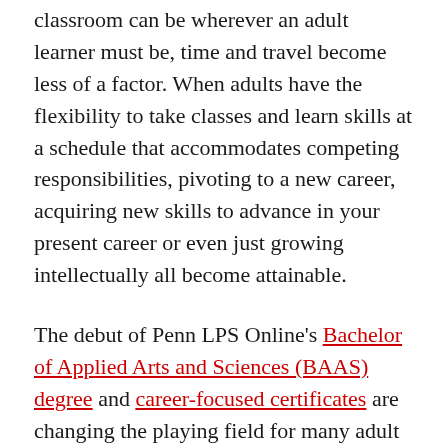classroom can be wherever an adult learner must be, time and travel become less of a factor. When adults have the flexibility to take classes and learn skills at a schedule that accommodates competing responsibilities, pivoting to a new career, acquiring new skills to advance in your present career or even just growing intellectually all become attainable.
The debut of Penn LPS Online's Bachelor of Applied Arts and Sciences (BAAS) degree and career-focused certificates are changing the playing field for many adult learners and redefining what access to an Ivy League educational experience means. In today's world, learning, at the highest level, is not limited to a traditional classroom setting or to one geographical location. With the launch of Penn LPS Online offerings, both adult learners and their employers are poised to